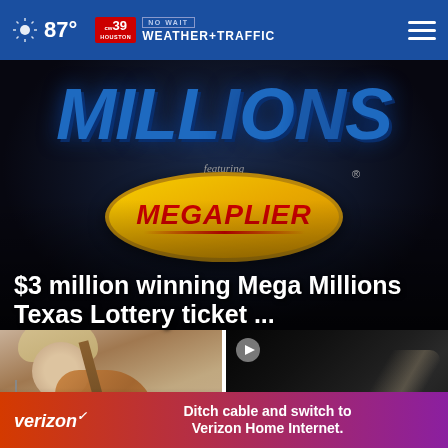87° | CW39 Houston NO WAIT WEATHER+TRAFFIC
[Figure (photo): Mega Millions lottery sign featuring Megaplier logo on dark background]
$3 million winning Mega Millions Texas Lottery ticket ...
[Figure (photo): Man with hat playing guitar and smiling at microphone - country musician]
[Figure (photo): Dark video still of car interior with play button overlay]
Country singer Luke Bell dead
Videos sh ✕ owing ... ing Marshawn
[Figure (infographic): Verizon advertisement banner: Ditch cable and switch to Verizon Home Internet.]